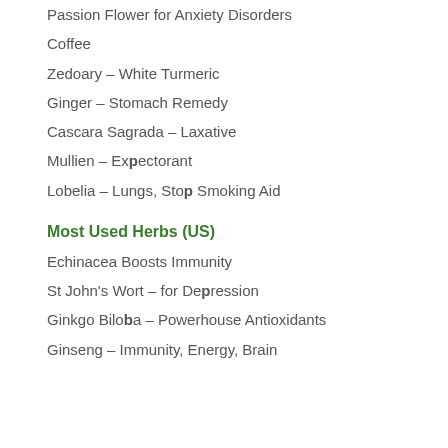Passion Flower for Anxiety Disorders
Coffee
Zedoary – White Turmeric
Ginger – Stomach Remedy
Cascara Sagrada – Laxative
Mullien – Expectorant
Lobelia – Lungs, Stop Smoking Aid
Most Used Herbs (US)
Echinacea Boosts Immunity
St John's Wort – for Depression
Ginkgo Biloba – Powerhouse Antioxidants
Ginseng – Immunity, Energy, Brain